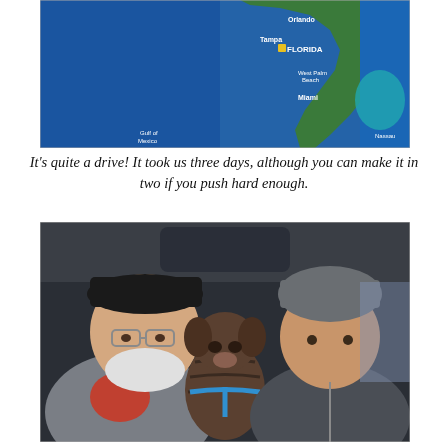[Figure (photo): Google Maps satellite view showing the state of Florida with city labels including Orlando, Tampa, FLORIDA, West Palm Beach, Miami, Gulf of Mexico, and Nassau visible.]
It's quite a drive! It took us three days, although you can make it in two if you push hard enough.
[Figure (photo): Selfie taken inside a vehicle showing two men and a brindle dog wearing a blue harness in the back seat. The man on the left has a white beard and wears a black cap and gray jacket; the man on the right wears a gray knit beanie and dark jacket.]